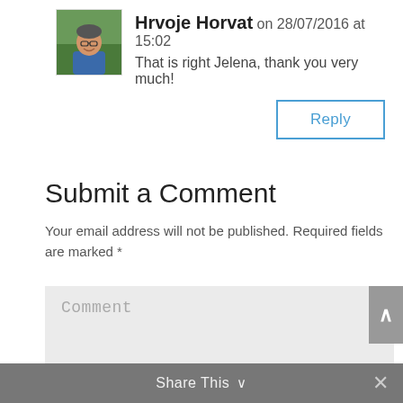[Figure (photo): Avatar photo of Hrvoje Horvat, a man in a blue shirt outdoors]
Hrvoje Horvat on 28/07/2016 at 15:02
That is right Jelena, thank you very much!
Reply
Submit a Comment
Your email address will not be published. Required fields are marked *
Comment
Share This